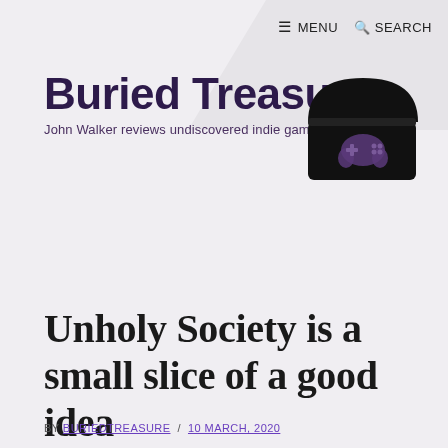≡ MENU   🔍 SEARCH
Buried Treasure
John Walker reviews undiscovered indie gaming gems
[Figure (logo): Black treasure chest with a purple game controller icon on the front, open lid]
Unholy Society is a small slice of a good idea
BY BURIEDTREASURE / 10 MARCH, 2020